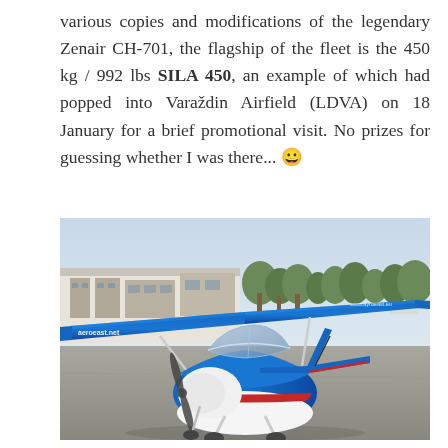various copies and modifications of the legendary Zenair CH-701, the flagship of the fleet is the 450 kg / 992 lbs SILA 450, an example of which had popped into Varaždin Airfield (LDVA) on 18 January for a brief promotional visit. No prizes for guessing whether I was there... 😀
[Figure (photo): A blue, white, and red light aircraft (SILA 450) parked on an airport apron at Varaždin Airfield. The aircraft is viewed from a slightly elevated front-left angle, showing the high-wing design. 'aeroeast.net' is written on the wing. Airport buildings and other aircraft visible in the background.]